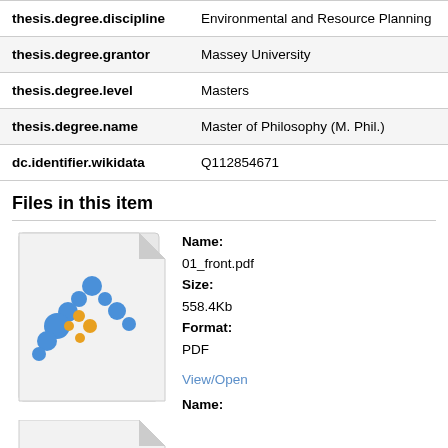| Field | Value |
| --- | --- |
| thesis.degree.discipline | Environmental and Resource Planning |
| thesis.degree.grantor | Massey University |
| thesis.degree.level | Masters |
| thesis.degree.name | Master of Philosophy (M. Phil.) |
| dc.identifier.wikidata | Q112854671 |
Files in this item
[Figure (illustration): PDF file thumbnail icon with DSpace/repository logo (blue and yellow dots forming a cross pattern) on a white page with folded corner]
Name:
01_front.pdf
Size:
558.4Kb
Format:
PDF
View/Open
Name: